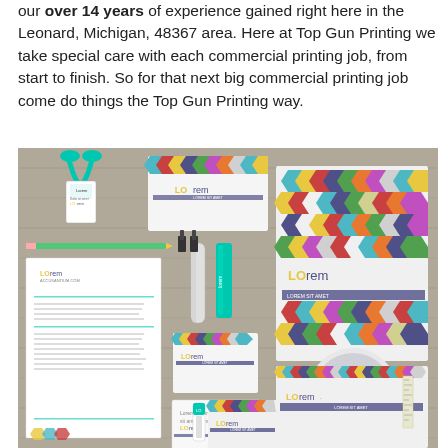our over 14 years of experience gained right here in the Leonard, Michigan, 48367 area. Here at Top Gun Printing we take special care with each commercial printing job, from start to finish. So for that next big commercial printing job come do things the Top Gun Printing way.
[Figure (photo): Photo of a branded stationery and corporate identity mockup set on a wooden surface, including business cards, letterhead, brochures with colorful hexagon patterns, pens, lighters, USB drive, CD, and a lanyard badge. Items display the 'Lorem' brand logo.]